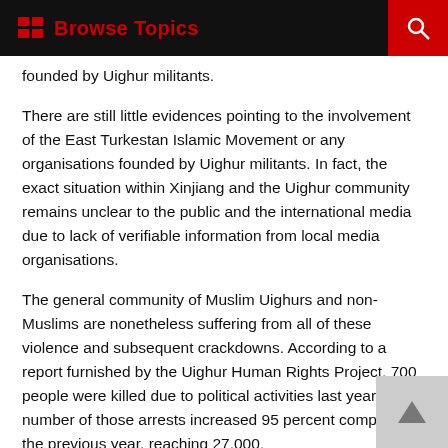Browse Topics
founded by Uighur militants.
There are still little evidences pointing to the involvement of the East Turkestan Islamic Movement or any organisations founded by Uighur militants. In fact, the exact situation within Xinjiang and the Uighur community remains unclear to the public and the international media due to lack of verifiable information from local media organisations.
The general community of Muslim Uighurs and non-Muslims are nonetheless suffering from all of these violence and subsequent crackdowns. According to a report furnished by the Uighur Human Rights Project, 700 people were killed due to political activities last year. The number of those arrests increased 95 percent compared to the previous year, reaching 27,000.